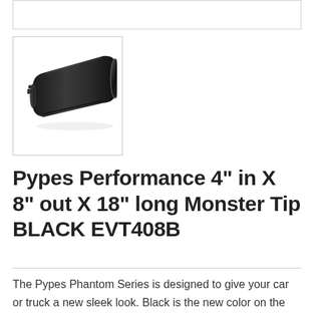[Figure (photo): Black exhaust tip product photo - Pypes Performance Monster Tip EVT408B, angled cylindrical black powder-coated exhaust tip]
Pypes Performance 4" in X 8" out X 18" long Monster Tip BLACK EVT408B
The Pypes Phantom Series is designed to give your car or truck a new sleek look. Black is the new color on the market. All Phantom Series products are powder coated over 304 polished stainless steel. Black powder coating provides...